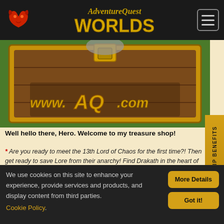[Figure (screenshot): AdventureQuest Worlds navigation bar with dragon logo, game title, and hamburger menu button]
[Figure (screenshot): Treasure chest game graphic with www.AQ.com text displayed on a wooden sign]
Well hello there, Hero. Welcome to my treasure shop!
* Are you ready to meet the 13th Lord of Chaos for the first time?! Then get ready to save Lore from their anarchy! Find Drakath in the heart of the Chaos Realm! Quibble may have more information for you this Friday!
What is a Quibble Coinbiter?
We use cookies on this site to enhance your experience, provide services and products, and display content from third parties. Cookie Policy.